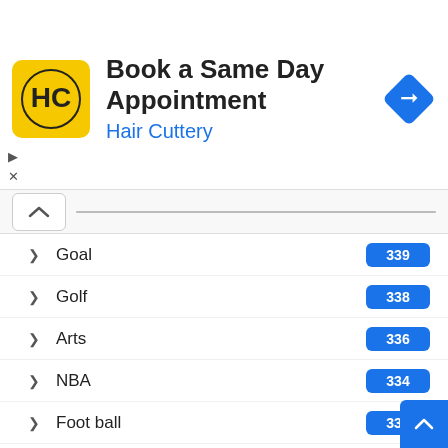[Figure (screenshot): Hair Cuttery advertisement banner: yellow HC logo, 'Book a Same Day Appointment' title, 'Hair Cuttery' subtitle in blue, blue diamond navigation icon on right]
Goal 339
Golf 338
Arts 336
NBA 334
Foot ball 333
NFL 333
Football 333
Soccer 329
Soccer ball 329
Basketball 275